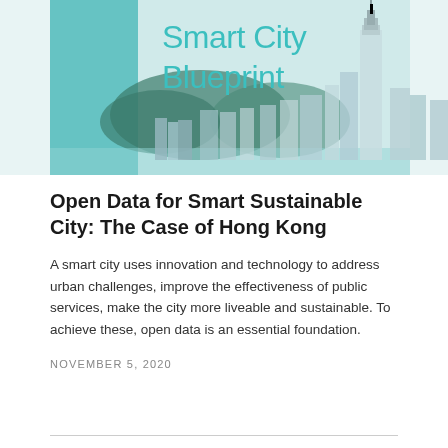[Figure (photo): Hong Kong skyline cityscape with Smart City Blueprint title overlay. A teal/cyan vertical rectangle appears on the left side. The text 'Smart City Blueprint' appears in large teal letters. The background shows the Hong Kong harbor skyline with skyscrapers including Two IFC tower.]
Open Data for Smart Sustainable City: The Case of Hong Kong
A smart city uses innovation and technology to address urban challenges, improve the effectiveness of public services, make the city more liveable and sustainable. To achieve these, open data is an essential foundation.
NOVEMBER 5, 2020